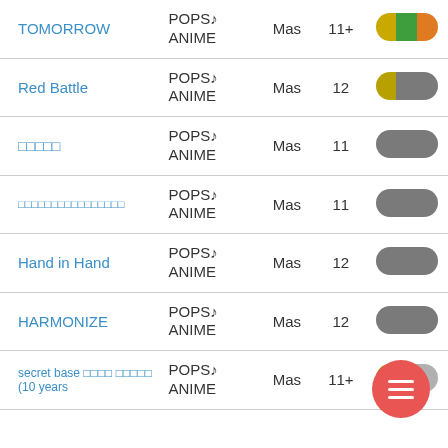| Song | Genre | Difficulty | Level | Stars |
| --- | --- | --- | --- | --- |
| TOMORROW | POPS♪
ANIME | Mas | 11+ | yellow-green-orange pill |
| Red Battle | POPS♪
ANIME | Mas | 12 | yellow-gray pill |
| □□□□□ | POPS♪
ANIME | Mas | 11 | gray pill |
| □□□□□□□□□□□□□□□□ | POPS♪
ANIME | Mas | 11 | gray pill |
| Hand in Hand | POPS♪
ANIME | Mas | 12 | gray pill |
| HARMONIZE | POPS♪
ANIME | Mas | 12 | gray pill |
| secret base □□□□ □□□□□ (10 years | POPS♪
ANIME | Mas | 11+ | yellow pill partial |